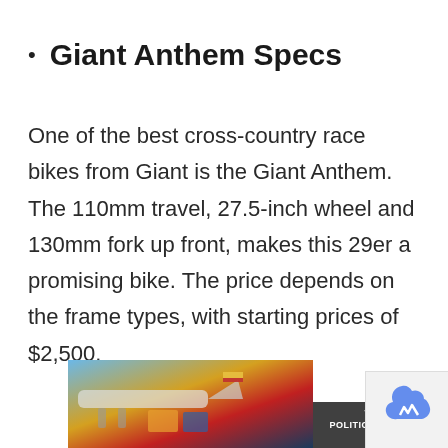Giant Anthem Specs
One of the best cross-country race bikes from Giant is the Giant Anthem. The 110mm travel, 27.5-inch wheel and 130mm fork up front, makes this 29er a promising bike. The price depends on the frame types, with starting prices of $2,500.
[Figure (photo): Advertisement banner showing a cargo airplane being loaded, with an overlay text reading 'WITHOUT REGARD TO POLITICS, RELIGION, OR ABILITY TO PAY']